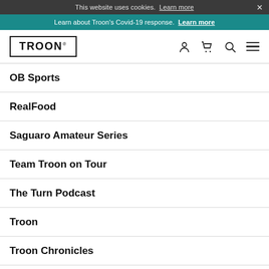This website uses cookies. Learn more ×
Learn about Troon's Covid-19 response. Learn more
[Figure (logo): Troon logo with trademark symbol in a rectangular border, with navigation icons (person, cart, search, hamburger menu)]
OB Sports
RealFood
Saguaro Amateur Series
Team Troon on Tour
The Turn Podcast
Troon
Troon Chronicles
Troon Golf